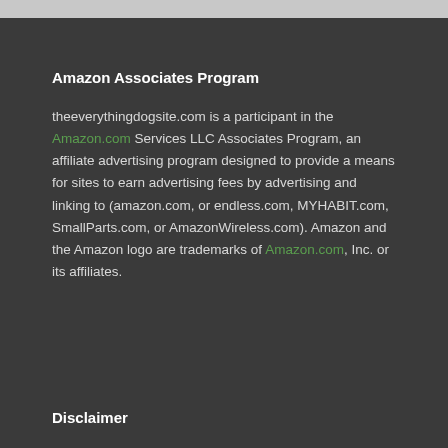Amazon Associates Program
theeverythingdogsite.com is a participant in the Amazon.com Services LLC Associates Program, an affiliate advertising program designed to provide a means for sites to earn advertising fees by advertising and linking to (amazon.com, or endless.com, MYHABIT.com, SmallParts.com, or AmazonWireless.com). Amazon and the Amazon logo are trademarks of Amazon.com, Inc. or its affiliates.
Disclaimer